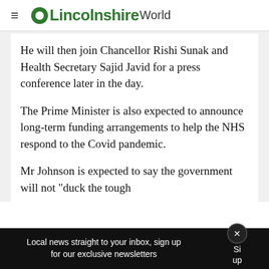LincolnshireWorld
He will then join Chancellor Rishi Sunak and Health Secretary Sajid Javid for a press conference later in the day.
The Prime Minister is also expected to announce long-term funding arrangements to help the NHS respond to the Covid pandemic.
Mr Johnson is expected to say the government will not "duck the tough
Local news straight to your inbox, sign up for our exclusive newsletters